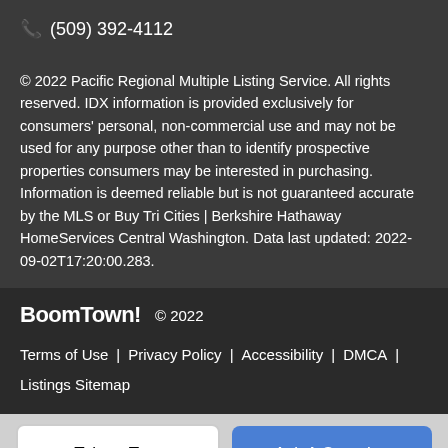✆ (509) 392-4112
© 2022 Pacific Regional Multiple Listing Service. All rights reserved. IDX information is provided exclusively for consumers' personal, non-commercial use and may not be used for any purpose other than to identify prospective properties consumers may be interested in purchasing. Information is deemed reliable but is not guaranteed accurate by the MLS or Buy Tri Cities | Berkshire Hathaway HomeServices Central Washington. Data last updated: 2022-09-02T17:20:00.283.
BoomTown! © 2022
Terms of Use | Privacy Policy | Accessibility | DMCA | Listings Sitemap
Take a Tour
Ask A Question